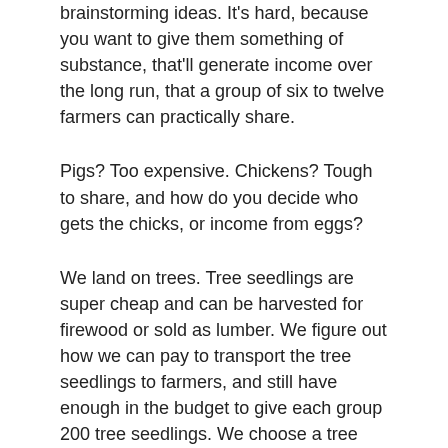brainstorming ideas. It's hard, because you want to give them something of substance, that'll generate income over the long run, that a group of six to twelve farmers can practically share.
Pigs? Too expensive. Chickens? Tough to share, and how do you decide who gets the chicks, or income from eggs?
We land on trees. Tree seedlings are super cheap and can be harvested for firewood or sold as lumber. We figure out how we can pay to transport the tree seedlings to farmers, and still have enough in the budget to give each group 200 tree seedlings. We choose a tree that benefits soil fertility, isn't so thirsty that it's going to starve other crops for water, and can be harvested in 2-3 years.
We're pretty pleased with ourselves, and settle in for the Friday field managers meeting. We mention the incentive to them. They nod politely. We ask what they think.